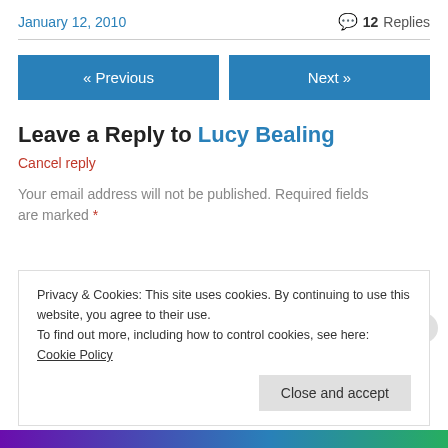January 12, 2010
💬 12 Replies
« Previous
Next »
Leave a Reply to Lucy Bealing
Cancel reply
Your email address will not be published. Required fields are marked *
Privacy & Cookies: This site uses cookies. By continuing to use this website, you agree to their use.
To find out more, including how to control cookies, see here: Cookie Policy
Close and accept